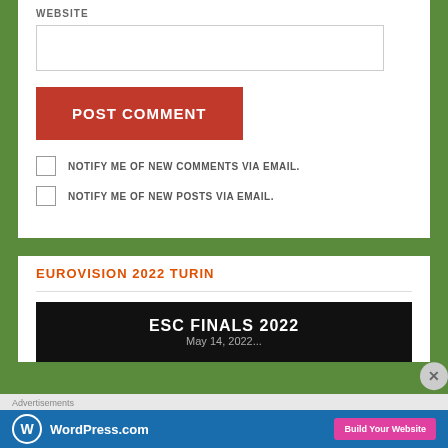WEBSITE
POST COMMENT
NOTIFY ME OF NEW COMMENTS VIA EMAIL.
NOTIFY ME OF NEW POSTS VIA EMAIL.
EUROVISION 2022 TURIN
[Figure (screenshot): ESC Finals 2022 banner on black background with partially visible subtitle text]
Advertisements
[Figure (logo): WordPress.com advertisement banner with blue background, WordPress logo and Build Your Website pink button]